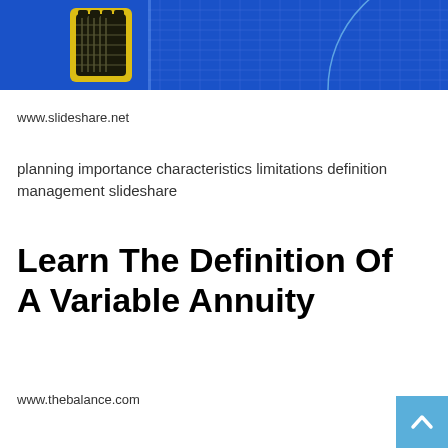[Figure (illustration): Banner image with blue grid background and a hand holding money illustration with yellow outline on the left side]
www.slideshare.net
planning importance characteristics limitations definition management slideshare
Learn The Definition Of A Variable Annuity
www.thebalance.com